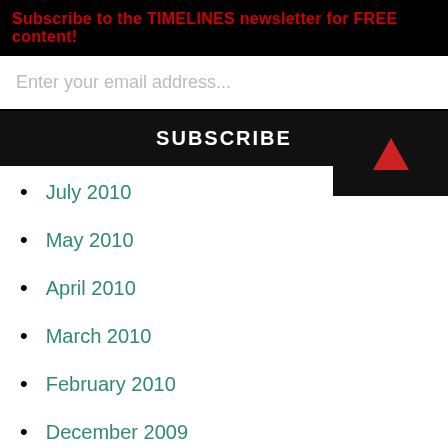Subscribe to the TIMELINES newsletter for FREE content!
Enter your email address...
SUBSCRIBE
July 2010
May 2010
April 2010
March 2010
February 2010
December 2009
November 2009
October 2009
September 2009
August 2009
July 2009
June 2009